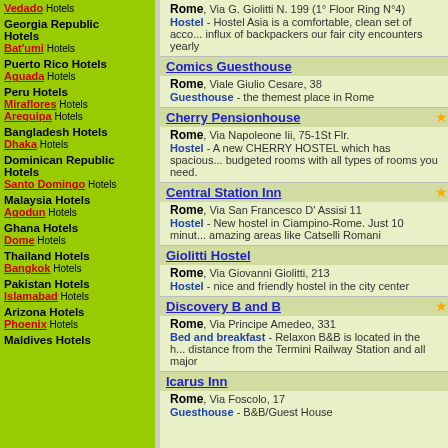Vedado Hotels
Georgia Republic Hotels
Bat'umi Hotels
Puerto Rico Hotels
Aguada Hotels
Peru Hotels
Miraflores Hotels
Arequipa Hotels
Bangladesh Hotels
Dhaka Hotels
Dominican Republic Hotels
Santo Domingo Hotels
Malaysia Hotels
Agodun Hotels
Ghana Hotels
Dome Hotels
Thailand Hotels
Bangkok Hotels
Pakistan Hotels
Islamabad Hotels
Arizona Hotels
Phoenix Hotels
Maldives Hotels
Rome, Via G. Giolitti N. 199 (1° Floor Ring N°4) Hostel - Hostel Asia is a comfortable, clean set of acco... influx of backpackers our fair city encounters yearly
Comics Guesthouse
Rome, Viale Giulio Cesare, 38 Guesthouse - the themest place in Rome
Cherry Pensionhouse
Rome, Via Napoleone Iii, 75-1St Flr. Hostel - A new CHERRY HOSTEL which has spacious... budgeted rooms with all types of rooms you need.
Central Station Inn
Rome, Via San Francesco D' Assisi 11 Hostel - New hostel in Ciampino-Rome. Just 10 minut... amazing areas like Catselli Romani
Giolitti Hostel
Rome, Via Giovanni Giolitti, 213 Hostel - nice and friendly hostel in the city center
Discovery B and B
Rome, Via Principe Amedeo, 331 Bed and breakfast - Relaxon B&B is located in the h... distance from the Termini Railway Station and all major
Icarus Inn
Rome, Via Foscolo, 17 Guesthouse - B&B/Guest House